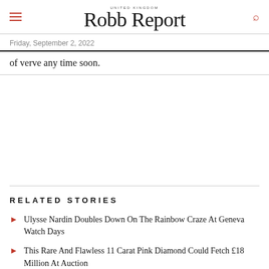Robb Report UNITED KINGDOM
Friday, September 2, 2022
of verve any time soon.
RELATED STORIES
Ulysse Nardin Doubles Down On The Rainbow Craze At Geneva Watch Days
This Rare And Flawless 11 Carat Pink Diamond Could Fetch £18 Million At Auction